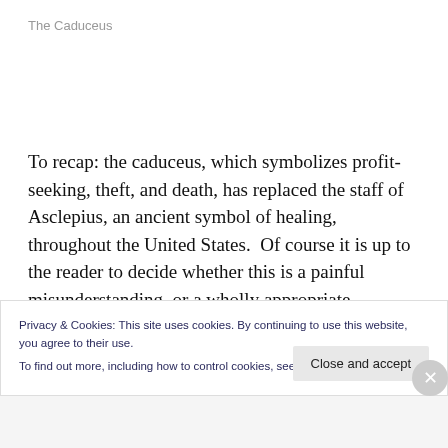The Caduceus
To recap: the caduceus, which symbolizes profit-seeking, theft, and death, has replaced the staff of Asclepius, an ancient symbol of healing, throughout the United States.  Of course it is up to the reader to decide whether this is a painful misunderstanding, or a wholly appropriate
Privacy & Cookies: This site uses cookies. By continuing to use this website, you agree to their use.
To find out more, including how to control cookies, see here: Cookie Policy
Close and accept